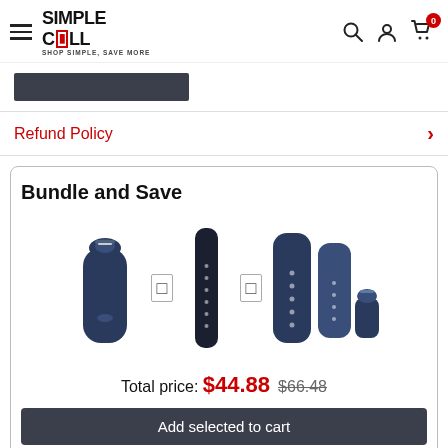Simple Cell — Shop Simple, Save More
[Figure (screenshot): Dark rounded rectangle button/bar]
Refund Policy
Bundle and Save
[Figure (photo): Three navy blue silicone Apple Watch bands shown as bundle products with plus separators between them]
Total price: $44.88  $66.48
Add selected to cart